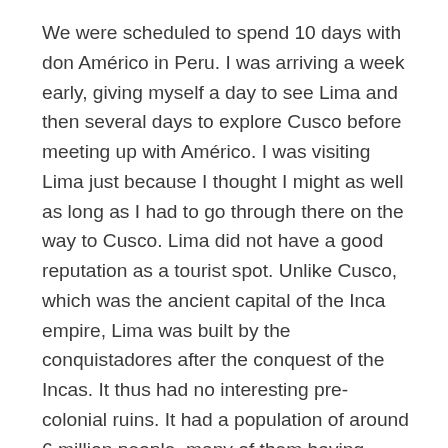We were scheduled to spend 10 days with don Américo in Peru. I was arriving a week early, giving myself a day to see Lima and then several days to explore Cusco before meeting up with Américo. I was visiting Lima just because I thought I might as well as long as I had to go through there on the way to Cusco. Lima did not have a good reputation as a tourist spot. Unlike Cusco, which was the ancient capital of the Inca empire, Lima was built by the conquistadores after the conquest of the Incas. It thus had no interesting pre-colonial ruins. It had a population of around 6 million people, many of them having moved down from the Andes and living in poverty in shanties around the city. It also had the reputation as being a relatively dangerous place to visit. I had reserved a room in a hotel about five blocks from the Plaza de Armas, the city square.